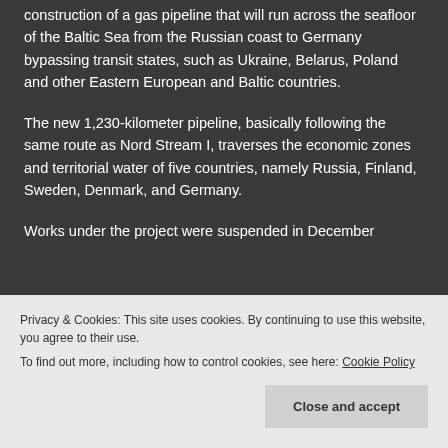construction of a gas pipeline that will run across the seafloor of the Baltic Sea from the Russian coast to Germany bypassing transit states, such as Ukraine, Belarus, Poland and other Eastern European and Baltic countries.
The new 1,230-kilometer pipeline, basically following the same route as Nord Stream I, traverses the economic zones and territorial water of five countries, namely Russia, Finland, Sweden, Denmark, and Germany.
Works under the project were suspended in December
Privacy & Cookies: This site uses cookies. By continuing to use this website, you agree to their use. To find out more, including how to control cookies, see here: Cookie Policy
struggle.